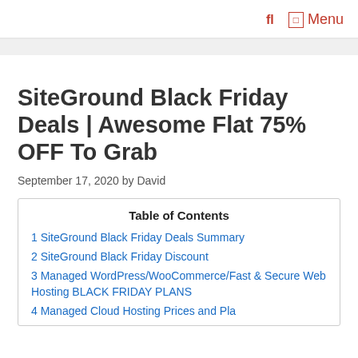fl  Menu
SiteGround Black Friday Deals | Awesome Flat 75% OFF To Grab
September 17, 2020 by David
Table of Contents
1 SiteGround Black Friday Deals Summary
2 SiteGround Black Friday Discount
3 Managed WordPress/WooCommerce/Fast & Secure Web Hosting BLACK FRIDAY PLANS
4 Managed Cloud Hosting Prices and Plans